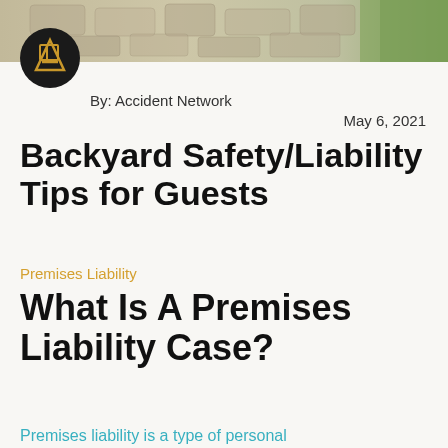[Figure (photo): Outdoor stone pathway with green grass, top banner photo strip]
[Figure (logo): Accident Network logo: dark circle with stylized A/G letter mark in gold]
By: Accident Network
May 6, 2021
Backyard Safety/Liability Tips for Guests
Premises Liability
What Is A Premises Liability Case?
Premises liability is a type of personal